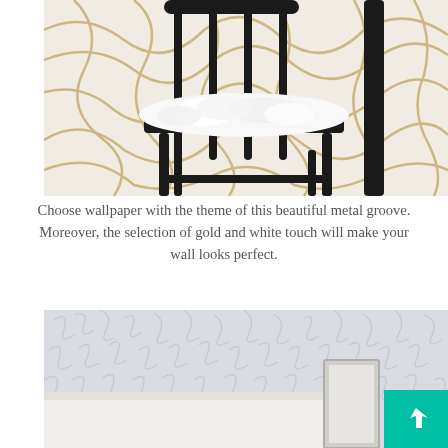[Figure (photo): A black wooden chair with a white fluffy seat cushion against a decorative wallpaper featuring gold and white metallic groove patterns]
Choose wallpaper with the theme of this beautiful metal groove. Moreover, the selection of gold and white touch will make your wall looks perfect.
[Figure (photo): A bedroom scene with a white upholstered headboard against a light blue-grey wallpaper with a feather or leaf pattern, and a teal colored element in the bottom right corner]